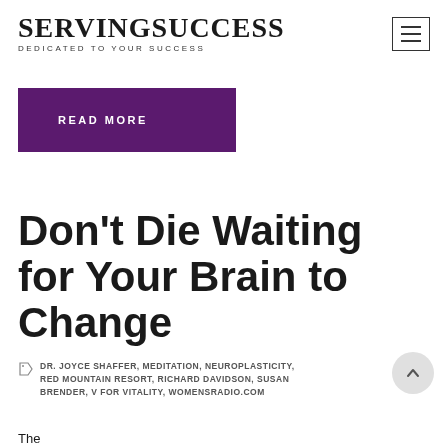SERVINGSUCCESS DEDICATED TO YOUR SUCCESS
READ MORE
Don't Die Waiting for Your Brain to Change
DR. JOYCE SHAFFER, MEDITATION, NEUROPLASTICITY, RED MOUNTAIN RESORT, RICHARD DAVIDSON, SUSAN BRENDER, V FOR VITALITY, WOMENSRADIO.COM
The...